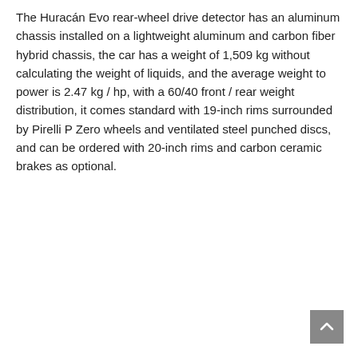The Huracán Evo rear-wheel drive detector has an aluminum chassis installed on a lightweight aluminum and carbon fiber hybrid chassis, the car has a weight of 1,509 kg without calculating the weight of liquids, and the average weight to power is 2.47 kg / hp, with a 60/40 front / rear weight distribution, it comes standard with 19-inch rims surrounded by Pirelli P Zero wheels and ventilated steel punched discs, and can be ordered with 20-inch rims and carbon ceramic brakes as optional.